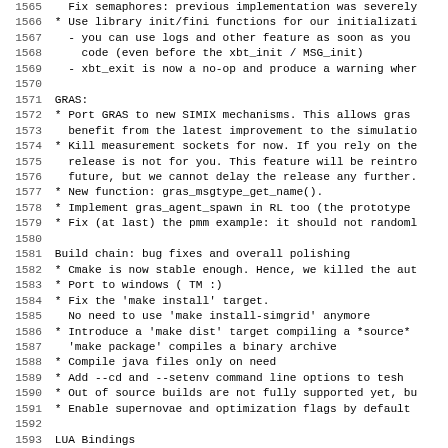1565   Fix semaphores: previous implementation was severely...
1566 * Use library init/fini functions for our initialization...
1567   - you can use logs and other feature as soon as you...
1568     code (even before the xbt_init / MSG_init)
1569   - xbt_exit is now a no-op and produce a warning when...
1570
1571 GRAS:
1572 * Port GRAS to new SIMIX mechanisms. This allows gras...
1573   benefit from the latest improvement to the simulation...
1574 * Kill measurement sockets for now. If you rely on the...
1575   release is not for you. This feature will be reintro...
1576   future, but we cannot delay the release any further.
1577 * New function: gras_msgtype_get_name().
1578 * Implement gras_agent_spawn in RL too (the prototype...
1579 * Fix (at last) the pmm example: it should not randoml...
1580
1581 Build chain: bug fixes and overall polishing
1582 * Cmake is now stable enough. Hence, we killed the aut...
1583 * Port to windows ( TM :)
1584 * Fix the 'make install' target.
1585   No need to use 'make install-simgrid' anymore
1586 * Introduce a 'make dist' target compiling a *source*...
1587   'make package' compiles a binary archive
1588 * Compile java files only on need
1589 * Add --cd and --setenv command line options to tesh...
1590 * Out of source builds are not fully supported yet, bu...
1591 * Enable supernovae and optimization flags by default...
1592
1593 LUA Bindings
1594 * Add layer to set up environment directly from lua, w...
1595 * The effect of gras_stub_generator can be achieved th...
1596   lua too (check examples/gras/console/ping_generator...)
1597